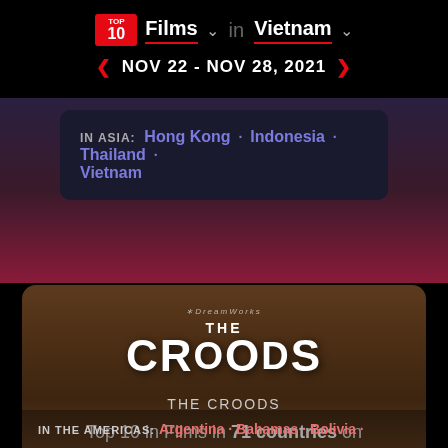TOP 10 Films in Vietnam
NOV 22 - NOV 28, 2021
IN ASIA: Hong Kong · Indonesia · Thailand · Vietnam
[Figure (screenshot): The Croods movie logo on a brown/dark background]
THE CROODS
Top 10 in Films in 71 countries on Netflix
IN THE AMERICAS: Argentina · Bahamas · Bolivia ·